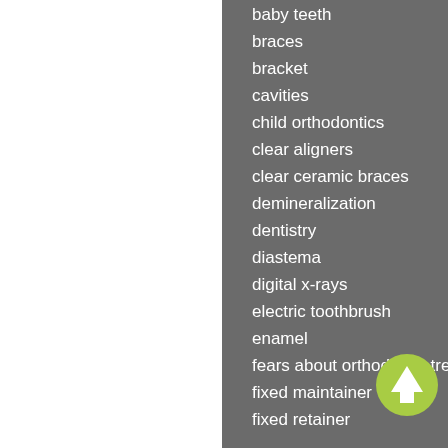baby teeth
braces
bracket
cavities
child orthodontics
clear aligners
clear ceramic braces
demineralization
dentistry
diastema
digital x-rays
electric toothbrush
enamel
fears about orthodontic treatment
fixed maintainer
fixed retainer
[Figure (illustration): Green circular up-arrow button icon in bottom right area]